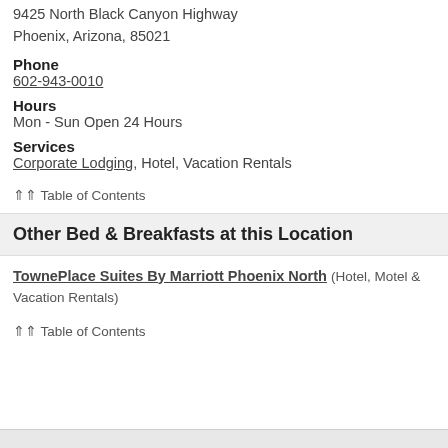9425 North Black Canyon Highway
Phoenix, Arizona, 85021
Phone
602-943-0010
Hours
Mon - Sun Open 24 Hours
Services
Corporate Lodging, Hotel, Vacation Rentals
⇑⇑ Table of Contents
Other Bed & Breakfasts at this Location
TownePlace Suites By Marriott Phoenix North (Hotel, Motel & Vacation Rentals)
⇑⇑ Table of Contents